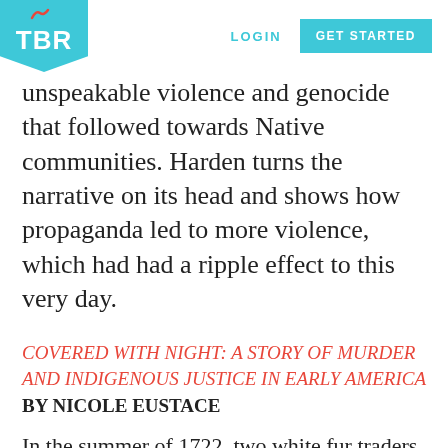TBR | LOGIN | GET STARTED
unspeakable violence and genocide that followed towards Native communities. Harden turns the narrative on its head and shows how propaganda led to more violence, which had had a ripple effect to this very day.
COVERED WITH NIGHT: A STORY OF MURDER AND INDIGENOUS JUSTICE IN EARLY AMERICA BY NICOLE EUSTACE
In the summer of 1722, two white fur traders killed an Indigenous hunter, sparking tensions that led to a massive